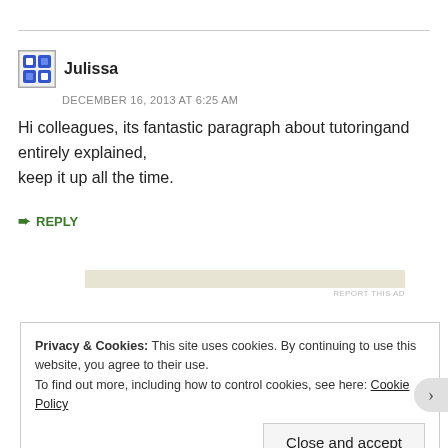Julissa
DECEMBER 16, 2013 AT 6:25 AM
Hi colleagues, its fantastic paragraph about tutoringand entirely explained, keep it up all the time.
↳ REPLY
[Figure (other): Advertisement bar placeholder]
REPORT THIS AD
Privacy & Cookies: This site uses cookies. By continuing to use this website, you agree to their use. To find out more, including how to control cookies, see here: Cookie Policy
Close and accept